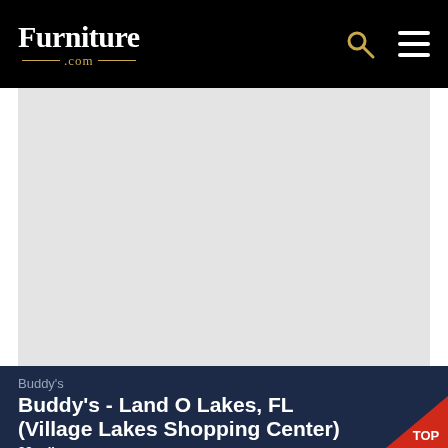Furniture.com
[Figure (map): Gray placeholder map area showing a location map]
Buddy's
Buddy's - Land O Lakes, FL (Village Lakes Shopping Center)
33 miles